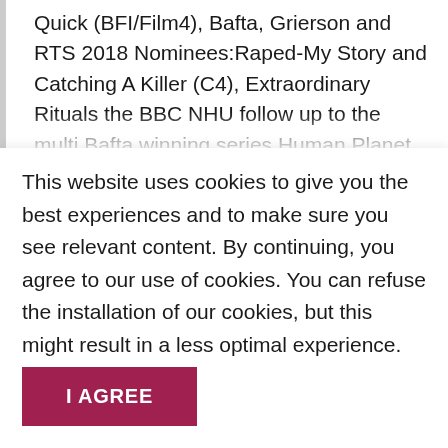Quick (BFI/Film4), Bafta, Grierson and RTS 2018 Nominees:Raped-My Story and Catching A Killer (C4), Extraordinary Rituals the BBC NHU follow up to the multi Bafta winning series Human Planet and the title
This website uses cookies to give you the best experiences and to make sure you see relevant content. By continuing, you agree to our use of cookies. You can refuse the installation of our cookies, but this might result in a less optimal experience. Read more.
I AGREE